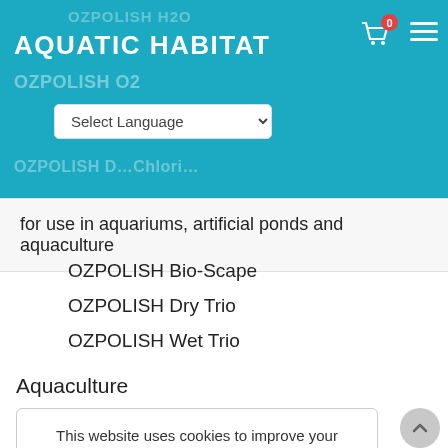AQUATIC HABITAT
OZPOLISH H2O
OZPOLISH O2
Select Language
for use in aquariums, artificial ponds and aquaculture
OZPOLISH Bio-Scape
OZPOLISH Dry Trio
OZPOLISH Wet Trio
Aquaculture
This website uses cookies to improve your experience. We'll assume you're ok with this, but you can opt-out if you wish. Cookie settings  Got it!
Home
Introduction
Independent Stockists
Involve with us – The OZPOLISH Blogs